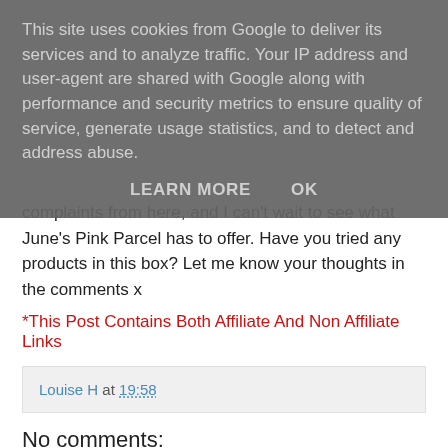This site uses cookies from Google to deliver its services and to analyze traffic. Your IP address and user-agent are shared with Google along with performance and security metrics to ensure quality of service, generate usage statistics, and to detect and address abuse.
LEARN MORE   OK
complaints from here, and I can't wait to see what June's Pink Parcel has to offer. Have you tried any products in this box? Let me know your thoughts in the comments x
*This Post Contains Both Affiliate And Non Affiliate Links
Louise H at 19:58
No comments:
Post a Comment
I love hearing what you have to say so leave me a